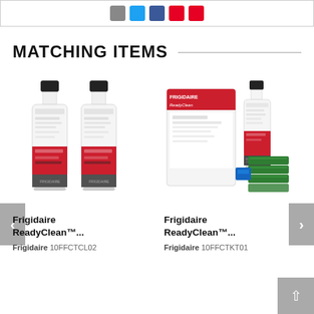[Figure (screenshot): Top bar with social sharing icons: email (grey), Twitter (blue), Facebook (dark blue), Pinterest (red), YouTube (red)]
MATCHING ITEMS
[Figure (photo): Two white Frigidaire ReadyClean product bottles with black caps and red/grey label design]
Frigidaire ReadyClean™...
Frigidaire 10FFCTCL02
[Figure (photo): Frigidaire ReadyClean kit product box with bottle and green scrub pads and blue accessory]
Frigidaire ReadyClean™...
Frigidaire 10FFCTKT01